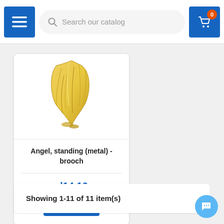[Figure (screenshot): E-commerce website navigation bar with hamburger menu button, search field reading 'Search our catalog', and shopping cart button with badge showing 0]
[Figure (photo): Product image of an angel figurine/brooch made of metal, standing, shown against white background]
Angel, standing (metal) - brooch
zł14.10
BUY
Showing 1-11 of 11 item(s)